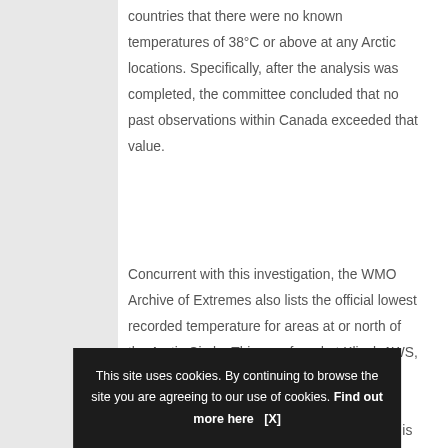countries that there were no known temperatures of 38°C or above at any Arctic locations. Specifically, after the analysis was completed, the committee concluded that no past observations within Canada exceeded that value.
Concurrent with this investigation, the WMO Archive of Extremes also lists the official lowest recorded temperature for areas at or north of the Arctic Circle. This was found at Klinck AWS, Greenland [72°18'N, 40°28'W, elevation: 3,216m (10,551ft)] to be -69.6°C (-93.3°F), recorded on December 22, 1991. That value is also the coldest temperature recorded for the Northern Hemisphere.
SHARE TH…
This site uses cookies. By continuing to browse the site you are agreeing to our use of cookies. Find out more here   [X]